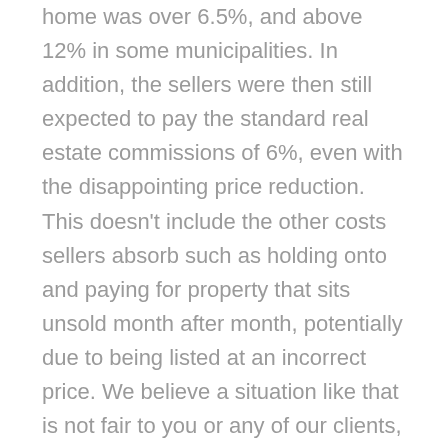home was over 6.5%, and above 12% in some municipalities. In addition, the sellers were then still expected to pay the standard real estate commissions of 6%, even with the disappointing price reduction. This doesn't include the other costs sellers absorb such as holding onto and paying for property that sits unsold month after month, potentially due to being listed at an incorrect price. We believe a situation like that is not fair to you or any of our clients, and that's why we created the performance-based platform.